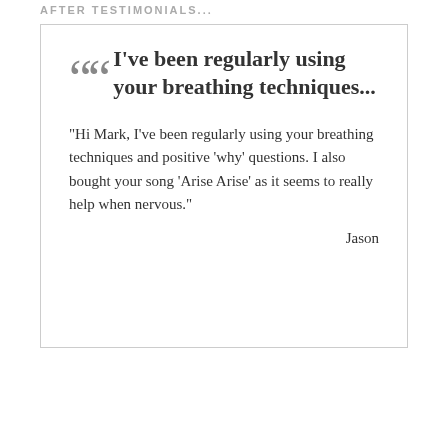AFTER TESTIMONIALS...
I've been regularly using your breathing techniques...
“Hi Mark, I’ve been regularly using your breathing techniques and positive ‘why’ questions. I also bought your song ‘Arise Arise’ as it seems to really help when nervous.”
Jason